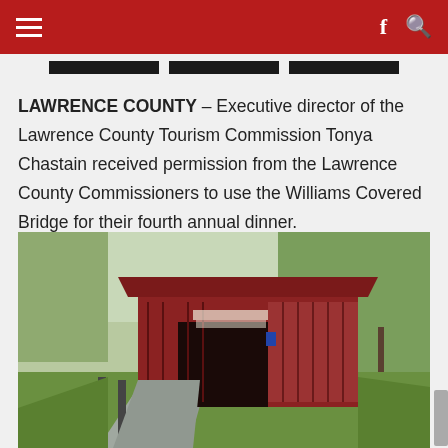Navigation bar with hamburger menu, Facebook icon, and search icon
LAWRENCE COUNTY – Executive director of the Lawrence County Tourism Commission Tonya Chastain received permission from the Lawrence County Commissioners to use the Williams Covered Bridge for their fourth annual dinner.
[Figure (photo): Photograph of Williams Covered Bridge, a red covered bridge surrounded by trees and greenery, with a paved road leading into the bridge entrance.]